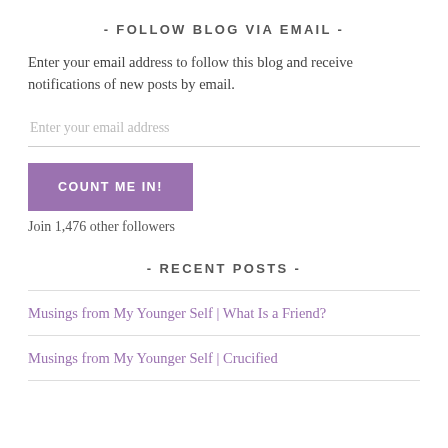- FOLLOW BLOG VIA EMAIL -
Enter your email address to follow this blog and receive notifications of new posts by email.
Enter your email address
COUNT ME IN!
Join 1,476 other followers
- RECENT POSTS -
Musings from My Younger Self | What Is a Friend?
Musings from My Younger Self | Crucified